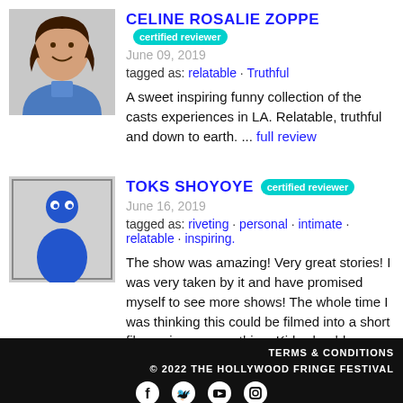[Figure (photo): Headshot of Celine Rosalie Zoppe, a young woman with curly brown hair, smiling, wearing a blue denim jacket.]
CELINE ROSALIE ZOPPE certified reviewer
June 09, 2019
tagged as: relatable · Truthful
A sweet inspiring funny collection of the casts experiences in LA. Relatable, truthful and down to earth. ... full review
[Figure (illustration): Generic blue cartoon avatar figure on light gray background with rounded square border.]
TOKS SHOYOYE certified reviewer
June 16, 2019
tagged as: riveting · personal · intimate · relatable · inspiring.
The show was amazing! Very great stories! I was very taken by it and have promised myself to see more shows! The whole time I was thinking this could be filmed into a short film series or something. Kids should see the to
TERMS & CONDITIONS
© 2022 THE HOLLYWOOD FRINGE FESTIVAL